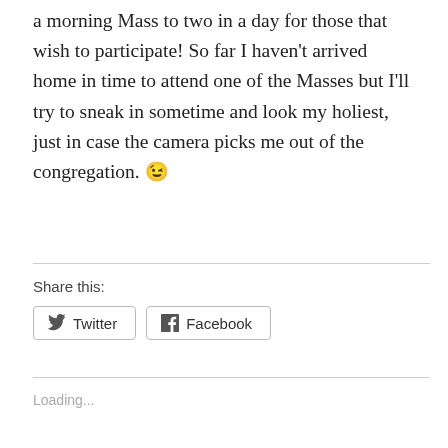a morning Mass to two in a day for those that wish to participate! So far I haven't arrived home in time to attend one of the Masses but I'll try to sneak in sometime and look my holiest, just in case the camera picks me out of the congregation. 😉
Share this:
Twitter | Facebook
Loading...